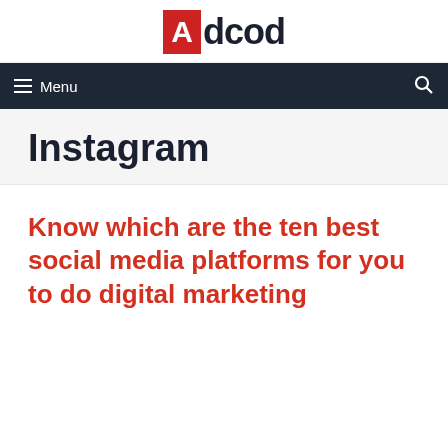Adcod
≡ Menu
Instagram
Know which are the ten best social media platforms for you to do digital marketing